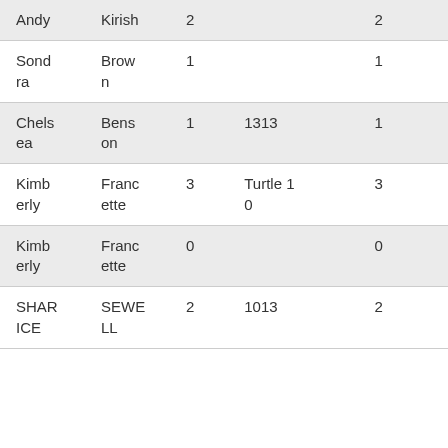| Andy | Kirish | 2 |  | 2 |
| Sond
ra | Brow
n | 1 |  | 1 |
| Chels
ea | Bens
on | 1 | 1313 | 1 |
| Kimb
erly | Franc
ette | 3 | Turtle 1
0 | 3 |
| Kimb
erly | Franc
ette | 0 |  | 0 |
| SHAR
ICE | SEWE
LL | 2 | 1013 | 2 |